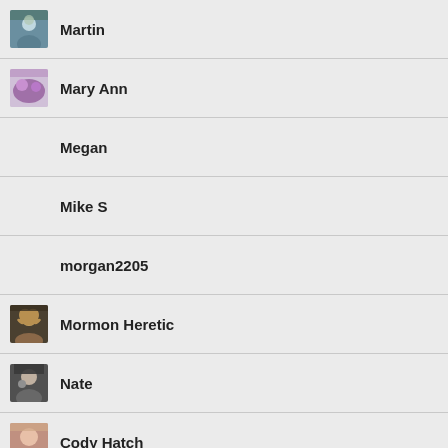Martin
Mary Ann
Megan
Mike S
morgan2205
Mormon Heretic
Nate
Cody Hatch